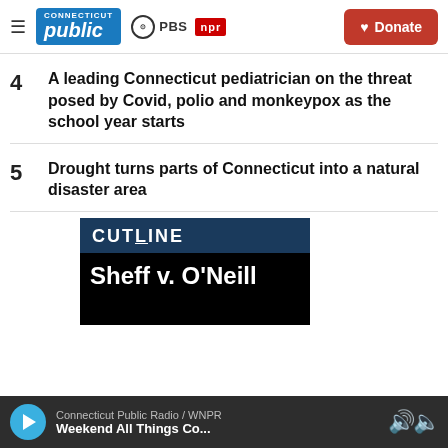Connecticut Public | PBS | NPR | Donate
4  A leading Connecticut pediatrician on the threat posed by Covid, polio and monkeypox as the school year starts
5  Drought turns parts of Connecticut into a natural disaster area
[Figure (screenshot): Cutline podcast/show graphic with 'Sheff v. O'Neill' text on dark background]
Connecticut Public Radio / WNPR — Weekend All Things Co...